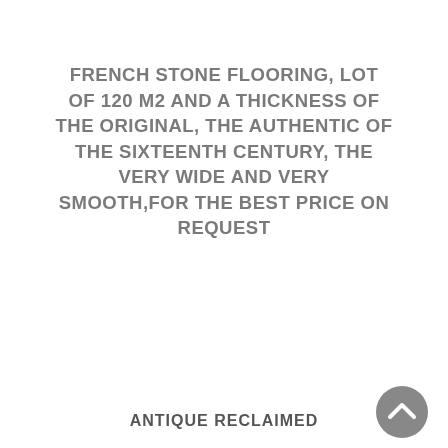FRENCH STONE FLOORING, LOT OF 120 M2 AND A THICKNESS OF THE ORIGINAL, THE AUTHENTIC OF THE SIXTEENTH CENTURY, THE VERY WIDE AND VERY SMOOTH,FOR THE BEST PRICE ON REQUEST
ANTIQUE RECLAIMED